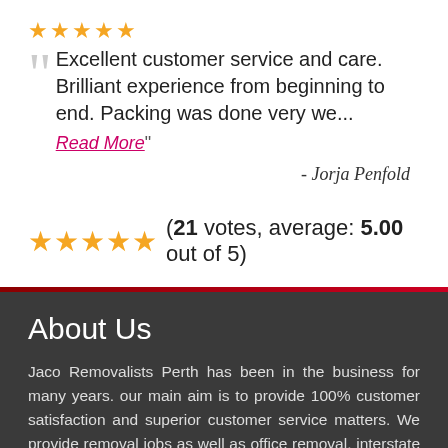[Figure (other): Five gold star rating icons]
Excellent customer service and care. Brilliant experience from beginning to end. Packing was done very we... Read More" - Jorja Penfold
(21 votes, average: 5.00 out of 5) with 5 gold star rating icons
About Us
Jaco Removalists Perth has been in the business for many years. our main aim is to provide 100% customer satisfaction and superior customer service matters. We provide removal jobs as well as office removal, interstate removal, piano removal, e... removalists Perth specialists will take care of everything, from